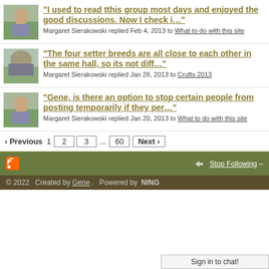"I used to read tthis group most days and enjoyed the good discussions. Now I check i..." Margaret Sierakowski replied Feb 4, 2013 to What to do with this site
"The four setter breeds are all close to each other in the same hall, so its not diff..." Margaret Sierakowski replied Jan 28, 2013 to Crufts 2013
"Gene, is there an option to stop certain people from posting temporarily if they per..." Margaret Sierakowski replied Jan 20, 2013 to What to do with this site
‹ Previous  1  2  3  ...  60  Next ›
© 2022   Created by Gene.   Powered by  NING
Sign in to chat!